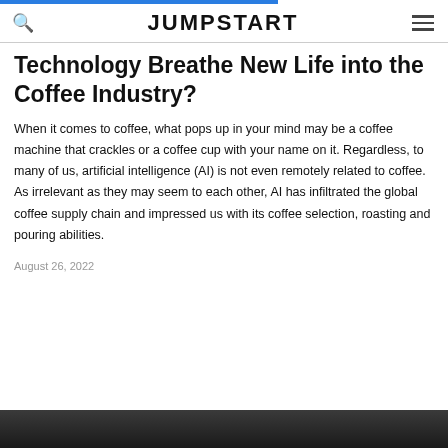JUMPSTART
Technology Breathe New Life into the Coffee Industry?
When it comes to coffee, what pops up in your mind may be a coffee machine that crackles or a coffee cup with your name on it. Regardless, to many of us, artificial intelligence (AI) is not even remotely related to coffee. As irrelevant as they may seem to each other, AI has infiltrated the global coffee supply chain and impressed us with its coffee selection, roasting and pouring abilities.
August 26, 2022
[Figure (photo): Dark photo strip at the bottom of the page, partially visible]